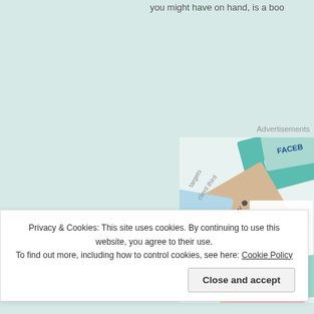you might have on hand, is a boo
Advertisements
[Figure (illustration): Advertisement image showing overlapping business/brand cards including Meta, Facebook, Capgemini, Merck logos with text partially visible: 'W Wor f Im C']
Privacy & Cookies: This site uses cookies. By continuing to use this website, you agree to their use.
To find out more, including how to control cookies, see here: Cookie Policy
Close and accept